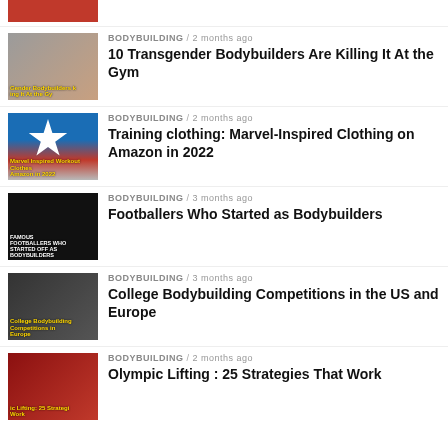[Figure (photo): Partial thumbnail of a food/bodybuilding image, cropped at top]
BODYBUILDING / 2 months ago
10 Transgender Bodybuilders Are Killing It At the Gym
BODYBUILDING / 2 months ago
Training clothing: Marvel-Inspired Clothing on Amazon in 2022
BODYBUILDING / 3 months ago
Footballers Who Started as Bodybuilders
BODYBUILDING / 3 months ago
College Bodybuilding Competitions in the US and Europe
BODYBUILDING / 2 months ago
Olympic Lifting : 25 Strategies That Work